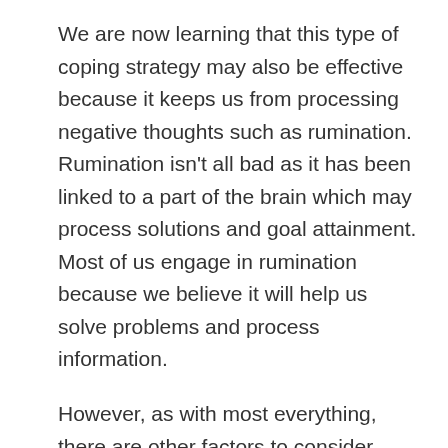We are now learning that this type of coping strategy may also be effective because it keeps us from processing negative thoughts such as rumination. Rumination isn't all bad as it has been linked to a part of the brain which may process solutions and goal attainment. Most of us engage in rumination because we believe it will help us solve problems and process information.
However, as with most everything, there are other factors to consider.
“Recent studies have shown that rumination is a powerful predictor of persistent post-traumatic stress disorder (PTSD). … The current investigation